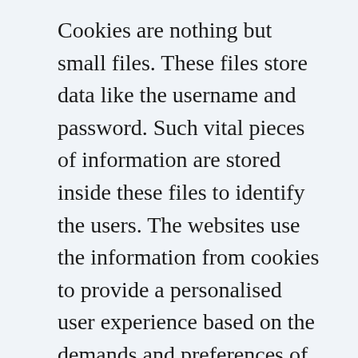Cookies are nothing but small files. These files store data like the username and password. Such vital pieces of information are stored inside these files to identify the users. The websites use the information from cookies to provide a personalised user experience based on the demands and preferences of the individuals. The data about users that a cookie store is created by the server.
The moment you connect with the website the server creates specific data to label the identity of your computer. When